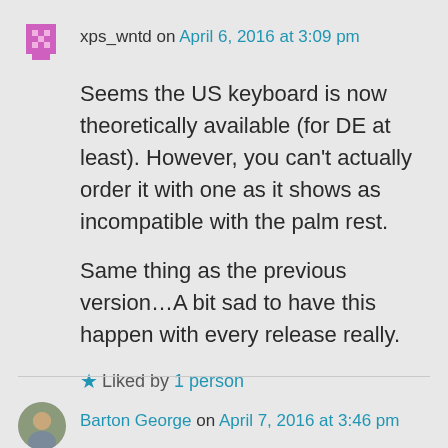xps_wntd on April 6, 2016 at 3:09 pm
Seems the US keyboard is now theoretically available (for DE at least). However, you can't actually order it with one as it shows as incompatible with the palm rest.

Same thing as the previous version…A bit sad to have this happen with every release really.
Liked by 1 person
Barton George on April 7, 2016 at 3:46 pm